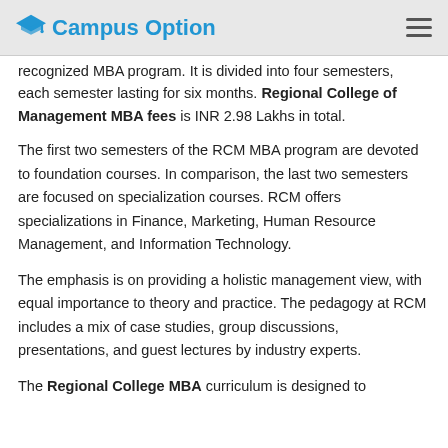Campus Option
recognized MBA program. It is divided into four semesters, each semester lasting for six months. Regional College of Management MBA fees is INR 2.98 Lakhs in total.
The first two semesters of the RCM MBA program are devoted to foundation courses. In comparison, the last two semesters are focused on specialization courses. RCM offers specializations in Finance, Marketing, Human Resource Management, and Information Technology.
The emphasis is on providing a holistic management view, with equal importance to theory and practice. The pedagogy at RCM includes a mix of case studies, group discussions, presentations, and guest lectures by industry experts.
The Regional College MBA curriculum is designed to